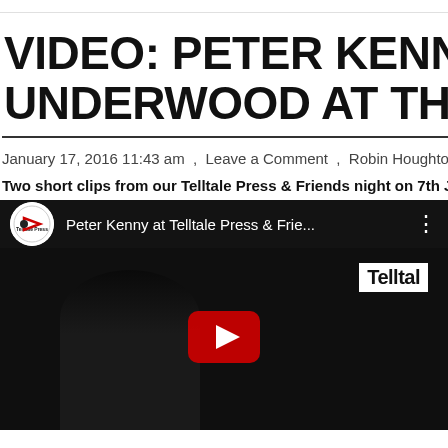VIDEO: PETER KENNY & JA UNDERWOOD AT THE POE
January 17, 2016 11:43 am , Leave a Comment , Robin Houghton
Two short clips from our Telltale Press & Friends night on 7th Janu
[Figure (screenshot): YouTube video embed showing 'Peter Kenny at Telltale Press & Frie...' with dark video thumbnail showing a person at a microphone and a Telltale Press banner, with YouTube play button overlay]